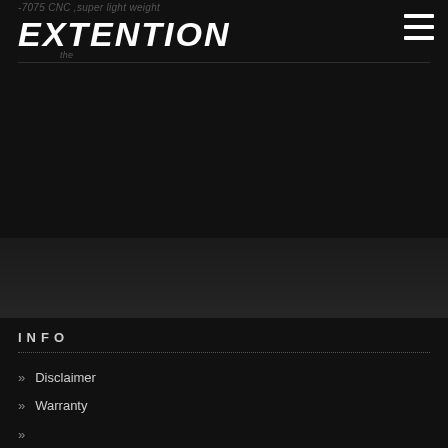7075 CNC, super light weight
[Figure (logo): EXTENTION brand logo in bold italic white stylized font with partial subtitle text]
INFO
» Disclaimer
» Warranty